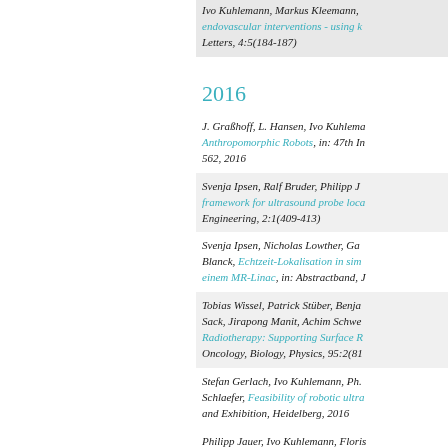Ivo Kuhlemann, Markus Kleemann, ... endovascular interventions - using k... Letters, 4:5(184-187)
2016
J. Graßhoff, L. Hansen, Ivo Kuhlem... Anthropomorphic Robots, in: 47th I... 562, 2016
Svenja Ipsen, Ralf Bruder, Philipp J... framework for ultrasound probe loca... Engineering, 2:1(409-413)
Svenja Ipsen, Nicholas Lowther, Ga... Blanck, Echtzeit-Lokalisation in sim... einem MR-Linac, in: Abstractband, J...
Tobias Wissel, Patrick Stüber, Benj... Sack, Jirapong Manit, Achim Schwe... Radiotherapy: Supporting Surface R... Oncology, Biology, Physics, 95:2(81...
Stefan Gerlach, Ivo Kuhlemann, Ph... Schlaefer, Feasibility of robotic ultr... and Exhibition, Heidelberg, 2016
Philipp Jauer, Ivo Kuhlemann, Floris... arbitrary serial manipulators, in: IEE... (ICCAR), pages 56-61, 2016